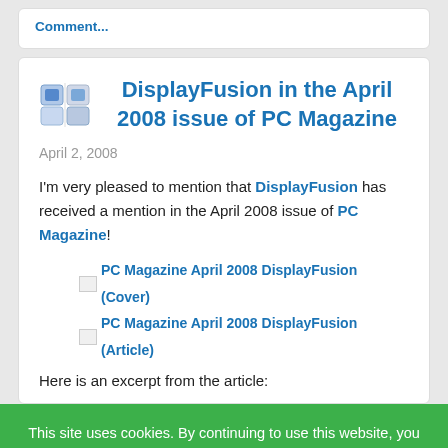Comment...
DisplayFusion in the April 2008 issue of PC Magazine
April 2, 2008
I'm very pleased to mention that DisplayFusion has received a mention in the April 2008 issue of PC Magazine!
[Figure (screenshot): PC Magazine April 2008 DisplayFusion (Cover) - broken image link thumbnail]
[Figure (screenshot): PC Magazine April 2008 DisplayFusion (Article) - broken image link thumbnail]
Here is an excerpt from the article:
This site uses cookies. By continuing to use this website, you agree to their use. I Understand · View Terms of Service
different wallpapers on each screen, even a